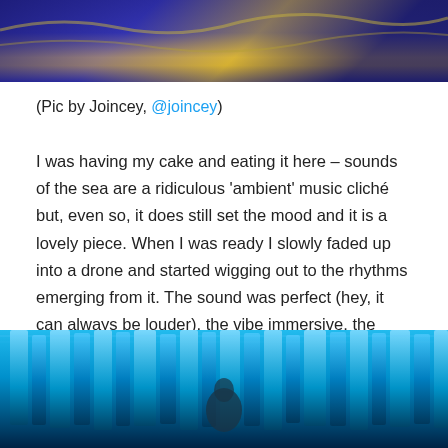[Figure (photo): Top portion of a photo showing purple/blue and gold tones, appears to be a concert or event venue]
(Pic by Joincey, @joincey)
I was having my cake and eating it here – sounds of the sea are a ridiculous ‘ambient’ music cliché but, even so, it does still set the mood and it is a lovely piece. When I was ready I slowly faded up into a drone and started wigging out to the rhythms emerging from it. The sound was perfect (hey, it can always be louder), the vibe immersive, the lighting sympathetic, the room full. Much to my amusement I even had a smoke machine. I was very, very happy – in the moment – enjoying myself hugely.
[Figure (photo): Photo of a blue-lit venue interior with vertical light columns and a silhouetted figure in the foreground]